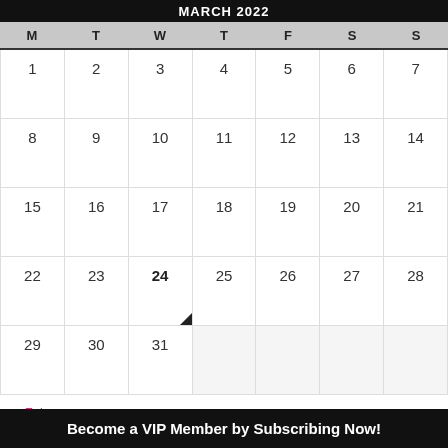MARCH 2022
| M | T | W | T | F | S | S |
| --- | --- | --- | --- | --- | --- | --- |
| 1 | 2 | 3 | 4 | 5 | 6 | 7 |
| 8 | 9 | 10 | 11 | 12 | 13 | 14 |
| 15 | 16 | 17 | 18 | 19 | 20 | 21 |
| 22 | 23 | 24 | 25 | 26 | 27 | 28 |
| 29 | 30 | 31 |  |  |  |  |
« Feb
Become a VIP Member by Subscribing Now!